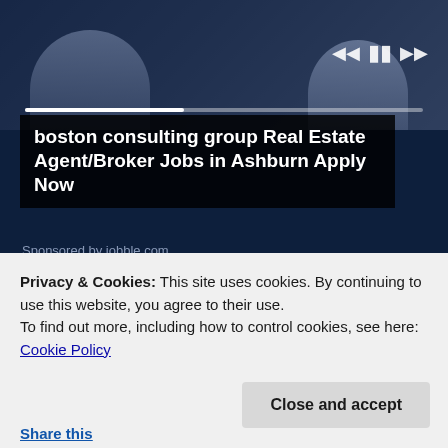[Figure (screenshot): Video player thumbnail showing two people at a desk, with video playback controls and a progress bar]
boston consulting group Real Estate Agent/Broker Jobs in Ashburn Apply Now
Sponsored by jobble.com
[Figure (photo): Photo of a woman with blonde hair and glasses speaking at a podium with microphones]
Virginia Will Cover The Cost To Install Solar if You Live in Ashburn
Solar Smart Install
Privacy & Cookies: This site uses cookies. By continuing to use this website, you agree to their use.
To find out more, including how to control cookies, see here: Cookie Policy
Close and accept
Share this